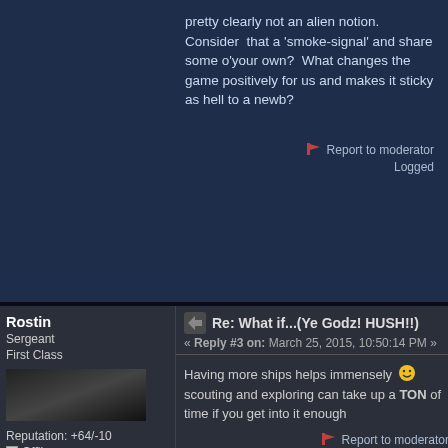pretty clearly not an alien notion.  Consider  that a 'smoke-signal' and share some o'your own?  What changes the game positively for us and makes it sticky as hell to a newb?
Report to moderator
Logged
Rostin
Sergeant First Class
Reputation: +64/-10
Offline
Posts: 585
Re: What if...(Ye Godz! HUSH!!)
« Reply #3 on: March 25, 2015, 10:50:14 PM »
Having more ships helps immensely 😊 scouting and exploring can take up a TON of time if you get into it enough
Report to moderator
Logged
Join the Solar Enterprises corporation today!